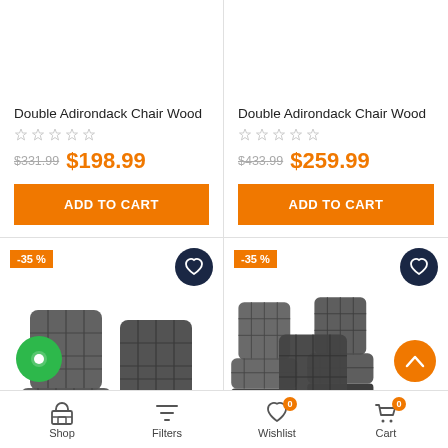Double Adirondack Chair Wood
★☆☆☆☆
$331.99  $198.99
ADD TO CART
Double Adirondack Chair Wood
★☆☆☆☆
$433.99  $259.99
ADD TO CART
[Figure (photo): Two dark gray tufted floor chairs/cushion chairs side by side, -35% discount badge, wishlist heart icon]
[Figure (photo): Three dark gray tufted floor chairs/cushion chairs arranged, -35% discount badge, wishlist heart icon]
Shop  Filters  Wishlist 0  Cart 0